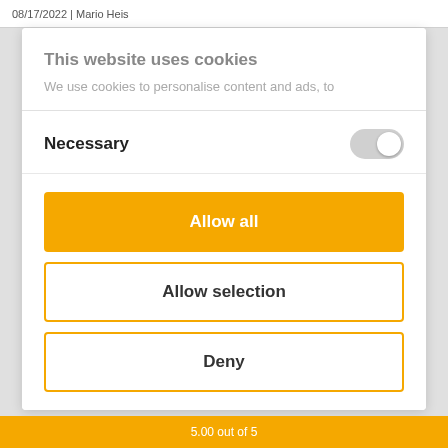08/17/2022 | Mario Heis
This website uses cookies
We use cookies to personalise content and ads, to
Necessary
Allow all
Allow selection
Deny
5.00 out of 5